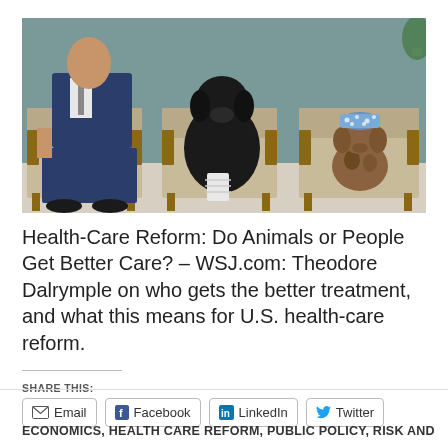[Figure (photo): A person in a suit sitting in a waiting room chair next to two dogs: a large black dog with a bandaged leg and a small wire-haired dachshund wearing a polka-dot ice pack on its head, all three seated in wooden waiting room chairs.]
Health-Care Reform: Do Animals or People Get Better Care? – WSJ.com: Theodore Dalrymple on who gets the better treatment, and what this means for U.S. health-care reform.
SHARE THIS:
Email   Facebook   LinkedIn   Twitter
ECONOMICS, HEALTH CARE REFORM, PUBLIC POLICY, RISK AND